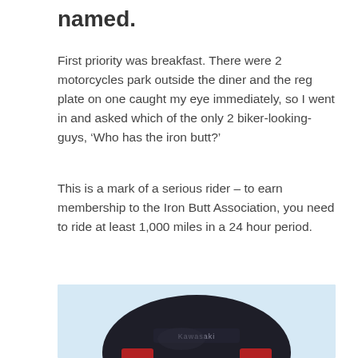named.
First priority was breakfast. There were 2 motorcycles park outside the diner and the reg plate on one caught my eye immediately, so I went in and asked which of the only 2 biker-looking-guys, ‘Who has the iron butt?’
This is a mark of a serious rider – to earn membership to the Iron Butt Association, you need to ride at least 1,000 miles in a 24 hour period.
[Figure (photo): Close-up photo of a black Kawasaki motorcycle top case/luggage box against a blue sky background, with red reflectors visible and the Kawasaki logo on top.]